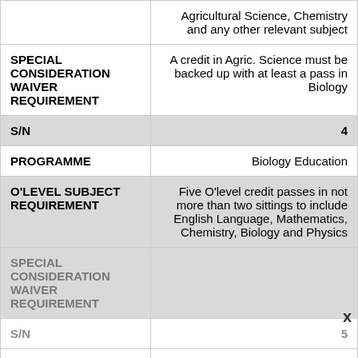|  | Agricultural Science, Chemistry and any other relevant subject |
| SPECIAL CONSIDERATION WAIVER REQUIREMENT | A credit in Agric. Science must be backed up with at least a pass in Biology |
| S/N | 4 |
| PROGRAMME | Biology Education |
| O'LEVEL SUBJECT REQUIREMENT | Five O'level credit passes in not more than two sittings to include English Language, Mathematics, Chemistry, Biology and Physics |
| SPECIAL CONSIDERATION WAIVER REQUIREMENT |  |
| S/N | 5 |
| PROGRAMME | Integrated Science Education |